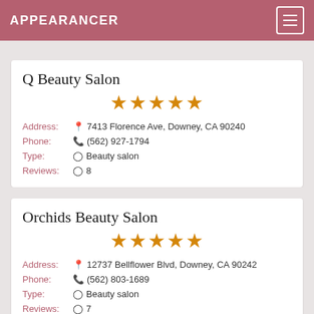APPEARANCER
Q Beauty Salon
★★★★★ (5 stars)
Address: 7413 Florence Ave, Downey, CA 90240
Phone: (562) 927-1794
Type: Beauty salon
Reviews: 8
Orchids Beauty Salon
★★★★★ (5 stars)
Address: 12737 Bellflower Blvd, Downey, CA 90242
Phone: (562) 803-1689
Type: Beauty salon
Reviews: 7